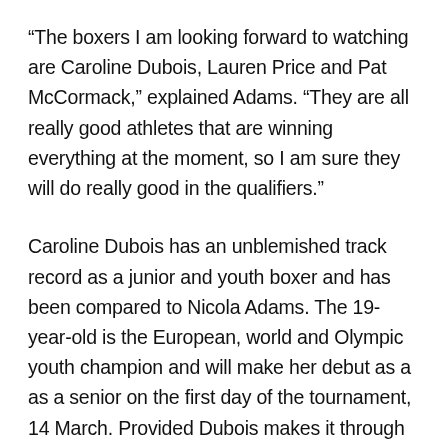“The boxers I am looking forward to watching are Caroline Dubois, Lauren Price and Pat McCormack,” explained Adams. “They are all really good athletes that are winning everything at the moment, so I am sure they will do really good in the qualifiers.”
Caroline Dubois has an unblemished track record as a junior and youth boxer and has been compared to Nicola Adams. The 19-year-old is the European, world and Olympic youth champion and will make her debut as a as a senior on the first day of the tournament, 14 March. Provided Dubois makes it through the preliminary rounds, her qualification bout will be in the 11.00 session on Thursday 18 March.